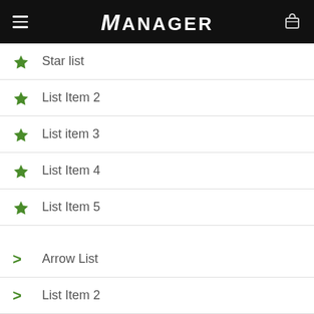Manager
Star list
List Item 2
List item 3
List Item 4
List Item 5
Arrow List
List Item 2
List item 3
List Item 4